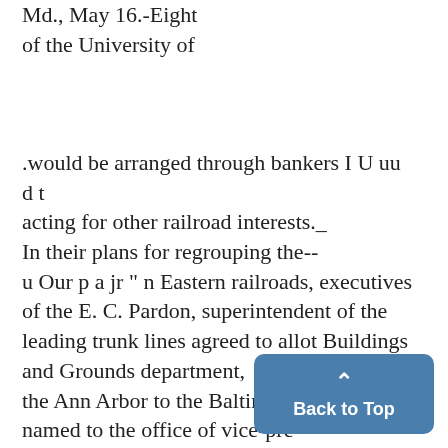Md., May 16.-Eight of the University of
.would be arranged through bankers I U uu d t acting for other railroad interests._ In their plans for regrouping the-- u Our p a jr " n Eastern railroads, executives of the E. C. Pardon, superintendent of the leading trunk lines agreed to allot Buildings and Grounds department, the Ann Arbor to the Baltimore & was named to the office of vice-pre Ohio, but other possible purcha